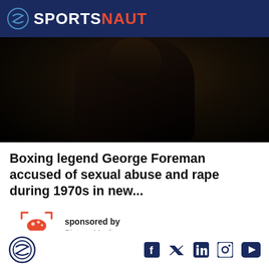SPORTSNAUT
[Figure (photo): Dark portrait photo of a person wearing dark clothing against a black background, showing upper body/torso]
Boxing legend George Foreman accused of sexual abuse and rape during 1970s in new...
[Figure (logo): Picture Mushroom app logo - red mushroom with camera focus corners icon]
sponsored by
Picture Mushroom
Sportsnaut footer with social media icons: Facebook, Twitter, LinkedIn, Instagram, YouTube